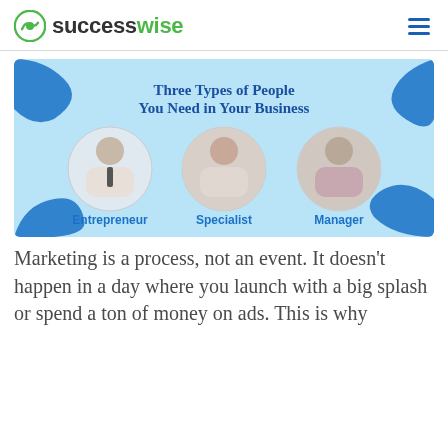successwise
[Figure (infographic): Infographic titled 'Three Types of People You Need in Your Business' showing three circular portraits labeled Entrepreneur, Specialist, and Manager on a light blue background with decorative blue wave shapes in corners.]
Marketing is a process, not an event. It doesn't happen in a day where you launch with a big splash or spend a ton of money on ads. This is why